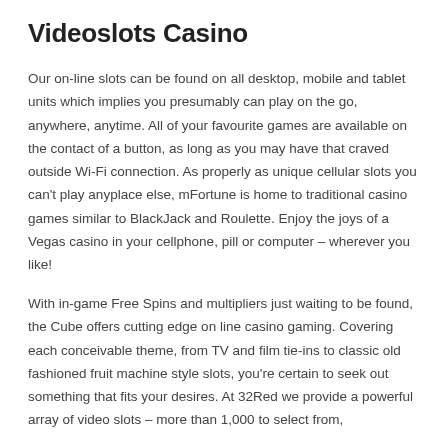Videoslots Casino
Our on-line slots can be found on all desktop, mobile and tablet units which implies you presumably can play on the go, anywhere, anytime. All of your favourite games are available on the contact of a button, as long as you may have that craved outside Wi-Fi connection. As properly as unique cellular slots you can't play anyplace else, mFortune is home to traditional casino games similar to BlackJack and Roulette. Enjoy the joys of a Vegas casino in your cellphone, pill or computer – wherever you like!
With in-game Free Spins and multipliers just waiting to be found, the Cube offers cutting edge on line casino gaming. Covering each conceivable theme, from TV and film tie-ins to classic old fashioned fruit machine style slots, you're certain to seek out something that fits your desires. At 32Red we provide a powerful array of video slots – more than 1,000 to select from, find to are also that the we also that we also that we also that